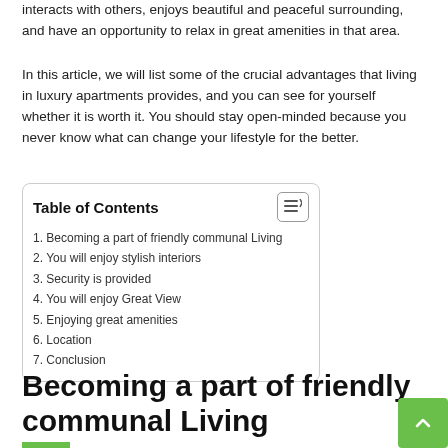interacts with others, enjoys beautiful and peaceful surrounding, and have an opportunity to relax in great amenities in that area.
In this article, we will list some of the crucial advantages that living in luxury apartments provides, and you can see for yourself whether it is worth it. You should stay open-minded because you never know what can change your lifestyle for the better.
| Table of Contents |
| --- |
| 1. Becoming a part of friendly communal Living |
| 2. You will enjoy stylish interiors |
| 3. Security is provided |
| 4. You will enjoy Great View |
| 5. Enjoying great amenities |
| 6. Location |
| 7. Conclusion |
Becoming a part of friendly communal Living